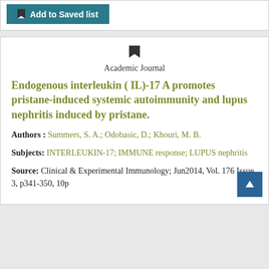[Figure (other): Add to Saved list button in teal/dark cyan color with bookmark icon]
Endogenous interleukin ( IL)-17 A promotes pristane-induced systemic autoimmunity and lupus nephritis induced by pristane.
Academic Journal
Authors : Summers, S. A.; Odobasic, D.; Khouri, M. B.
Subjects: INTERLEUKIN-17; IMMUNE response; LUPUS nephritis
Source: Clinical & Experimental Immunology; Jun2014, Vol. 176 Issue 3, p341-350, 10p